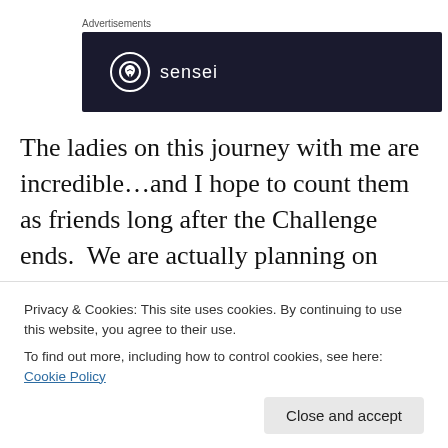Advertisements
[Figure (logo): Sensei brand advertisement banner — dark navy background with a circular tree icon and the word 'sensei' in white text]
The ladies on this journey with me are incredible…and I hope to count them as friends long after the Challenge ends.  We are actually planning on entering a 5K together!  Michelle, Jennyfer, Katie, Annemarie, and Anita… let's keep this up!  And Patty, you are definitely
Privacy & Cookies: This site uses cookies. By continuing to use this website, you agree to their use.
To find out more, including how to control cookies, see here: Cookie Policy